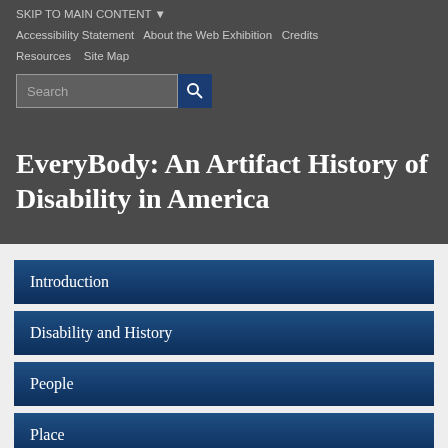SKIP TO MAIN CONTENT ▾  Accessibility Statement  About the Web Exhibition  Credits  Resources  Site Map
EveryBody: An Artifact History of Disability in America
Introduction
Disability and History
People
Place